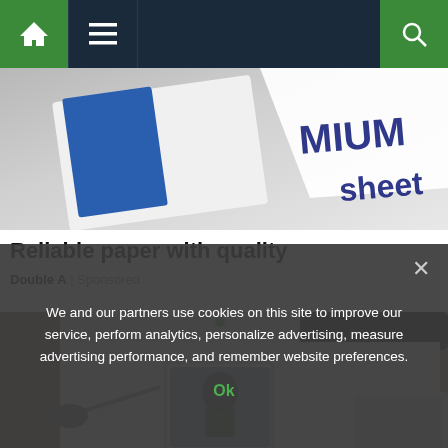Navigation bar with home, menu, and search icons
[Figure (photo): Close-up of paper product packaging with 'PREMIUM' and 'sheet' text visible on a blue and white label]
Reliable paper with quality
Double A | Sponsored
[Figure (photo): Close-up of a white truck cab with a driver visible through the window, motion blur in background]
We and our partners use cookies on this site to improve our service, perform analytics, personalize advertising, measure advertising performance, and remember website preferences. Ok